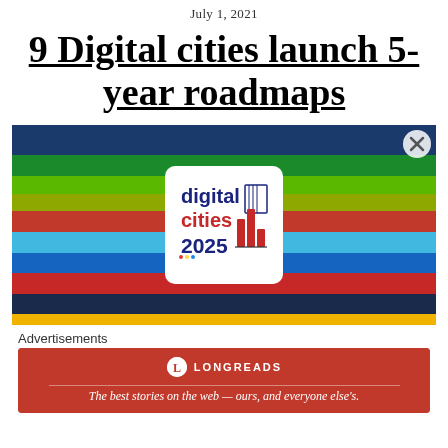July 1, 2021
9 Digital cities launch 5-year roadmaps
[Figure (illustration): Colorful horizontal stripes image (navy, green, yellow-green, olive, red, light blue, blue, red, dark navy) with a white rounded-corner box overlay containing the 'digital cities 2025' logo with a bar chart icon in red and navy, and a small building/city icon outline.]
Advertisements
[Figure (infographic): Longreads advertisement banner with red background, Longreads logo (circle L icon), and tagline 'The best stories on the web — ours, and everyone else's.']